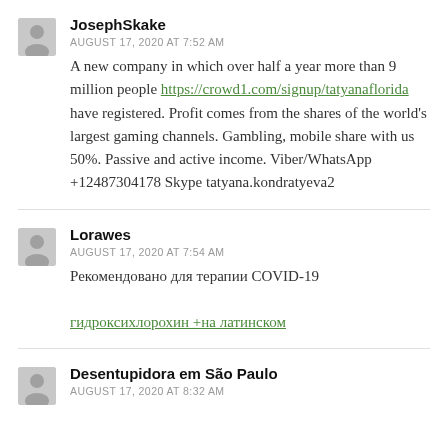JosephSkake
AUGUST 17, 2020 AT 7:52 AM
A new company in which over half a year more than 9 million people https://crowd1.com/signup/tatyanaflorida have registered. Profit comes from the shares of the world's largest gaming channels. Gambling, mobile share with us 50%. Passive and active income. Viber/WhatsApp +12487304178 Skype tatyana.kondratyeva2
Lorawes
AUGUST 17, 2020 AT 7:54 AM
Рекомендовано для терапии COVID-19
гидроксихлорохин +на латинском
Desentupidora em São Paulo
AUGUST 17, 2020 AT 8:32 AM